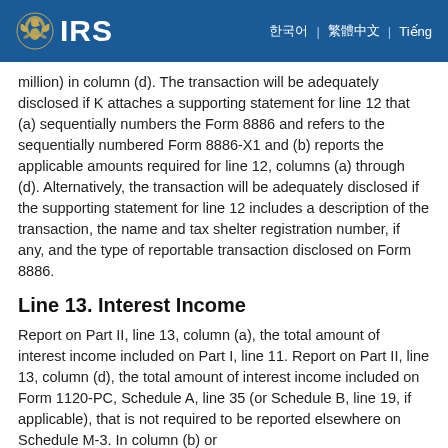IRS
million) in column (d). The transaction will be adequately disclosed if K attaches a supporting statement for line 12 that (a) sequentially numbers the Form 8886 and refers to the sequentially numbered Form 8886-X1 and (b) reports the applicable amounts required for line 12, columns (a) through (d). Alternatively, the transaction will be adequately disclosed if the supporting statement for line 12 includes a description of the transaction, the name and tax shelter registration number, if any, and the type of reportable transaction disclosed on Form 8886.
Line 13. Interest Income
Report on Part II, line 13, column (a), the total amount of interest income included on Part I, line 11. Report on Part II, line 13, column (d), the total amount of interest income included on Form 1120-PC, Schedule A, line 35 (or Schedule B, line 19, if applicable), that is not required to be reported elsewhere on Schedule M-3. In column (b) or